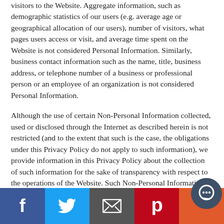visitors to the Website. Aggregate information, such as demographic statistics of our users (e.g. average age or geographical allocation of our users), number of visitors, what pages users access or visit, and average time spent on the Website is not considered Personal Information. Similarly, business contact information such as the name, title, business address, or telephone number of a business or professional person or an employee of an organization is not considered Personal Information.
Although the use of certain Non-Personal Information collected, used or disclosed through the Internet as described herein is not restricted (and to the extent that such is the case, the obligations under this Privacy Policy do not apply to such information), we provide information in this Privacy Policy about the collection of such information for the sake of transparency with respect to the operations of the Website. Such Non-Personal Information is collected...
[Figure (infographic): Social sharing bar at bottom with Facebook, Twitter, Email, Pinterest, and chat bubble buttons]